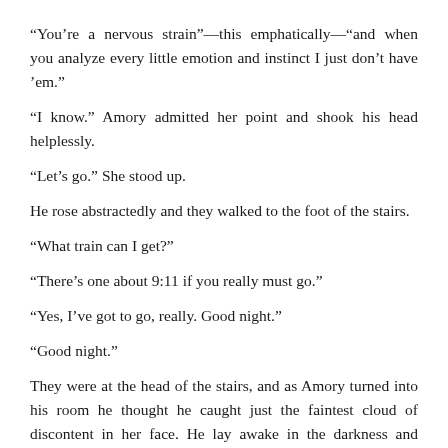“You’re a nervous strain”—this emphatically—“and when you analyze every little emotion and instinct I just don’t have ’em.”
“I know.” Amory admitted her point and shook his head helplessly.
“Let’s go.” She stood up.
He rose abstractedly and they walked to the foot of the stairs.
“What train can I get?”
“There’s one about 9:11 if you really must go.”
“Yes, I’ve got to go, really. Good night.”
“Good night.”
They were at the head of the stairs, and as Amory turned into his room he thought he caught just the faintest cloud of discontent in her face. He lay awake in the darkness and wondered how much he cared—how much of his sudden unhappiness was hurt vanity—whether he was, after all, temperamentally unfitted for romance.